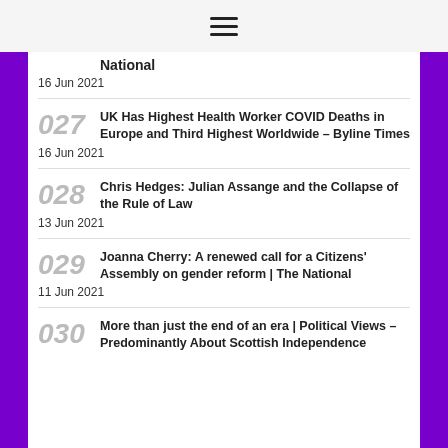≡
National · 16 Jun 2021
027 UK Has Highest Health Worker COVID Deaths in Europe and Third Highest Worldwide – Byline Times · 16 Jun 2021
028 Chris Hedges: Julian Assange and the Collapse of the Rule of Law · 13 Jun 2021
029 Joanna Cherry: A renewed call for a Citizens' Assembly on gender reform | The National · 11 Jun 2021
030 More than just the end of an era | Political Views – Predominantly About Scottish Independence